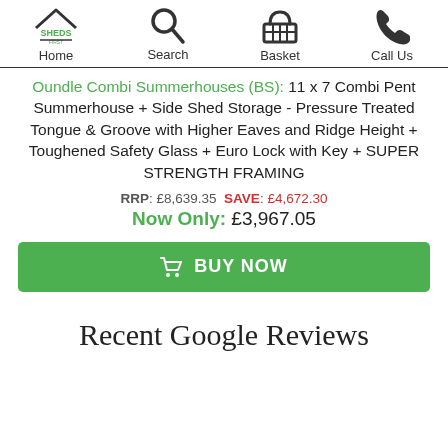Home | Search | Basket | Call Us
Oundle Combi Summerhouses (BS): 11 x 7 Combi Pent Summerhouse + Side Shed Storage - Pressure Treated Tongue & Groove with Higher Eaves and Ridge Height + Toughened Safety Glass + Euro Lock with Key + SUPER STRENGTH FRAMING
RRP: £8,639.35 SAVE: £4,672.30 Now Only: £3,967.05
BUY NOW
Recent Google Reviews